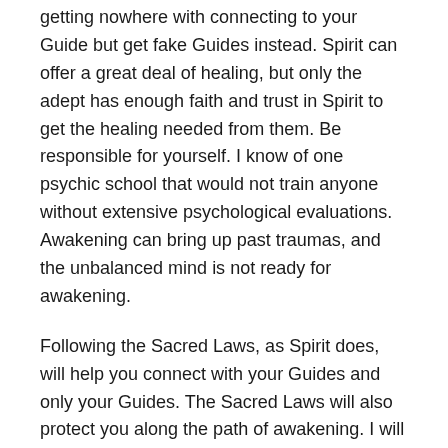getting nowhere with connecting to your Guide but get fake Guides instead. Spirit can offer a great deal of healing, but only the adept has enough faith and trust in Spirit to get the healing needed from them. Be responsible for yourself. I know of one psychic school that would not train anyone without extensive psychological evaluations. Awakening can bring up past traumas, and the unbalanced mind is not ready for awakening.
Following the Sacred Laws, as Spirit does, will help you connect with your Guides and only your Guides. The Sacred Laws will also protect you along the path of awakening. I will give a brief overview of the Sacred Laws, but this list is in no way comprehensive. You may wish to continue to contemplate and learn them in mediation or in conversation with Spirit to better understand them. Know that following the Sacred Laws for any reason will be life changing.